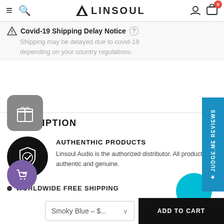LINSOUL
Covid-19 Shipping Delay Notice
Shipping may be delayed due to covid-19 depending on your country regulations.
DESCRIPTION
AUTHENTHIC PRODUCTS
Linsoul Audio is the authorized distributor. All products are authentic and genuine.
WORLDWIDE FREE SHIPPING
Smoky Blue – $...
ADD TO CART